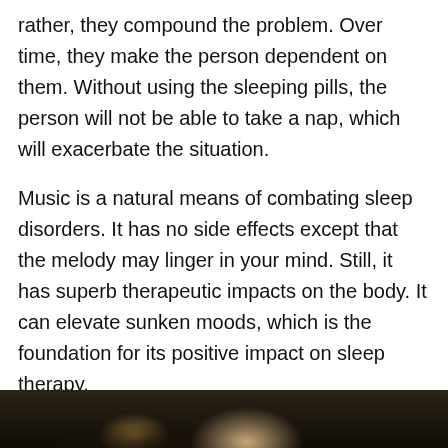rather, they compound the problem. Over time, they make the person dependent on them. Without using the sleeping pills, the person will not be able to take a nap, which will exacerbate the situation.
Music is a natural means of combating sleep disorders. It has no side effects except that the melody may linger in your mind. Still, it has superb therapeutic impacts on the body. It can elevate sunken moods, which is the foundation for its positive impact on sleep therapy.
Music and your mood
[Figure (photo): Bottom portion of a photo showing a person, cropped at the bottom of the page. Dark tones visible at the bottom strip.]